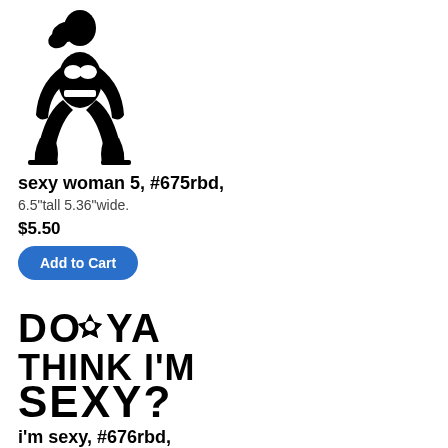[Figure (illustration): Black silhouette of a crouching sexy woman figure]
sexy woman 5, #675rbd,
6.5"tall 5.36"wide.
$5.50
Add to Cart
[Figure (illustration): Text sticker reading DO YA / THINK I'M / SEXY? in bold black letters with a star badge]
i'm sexy, #676rbd,
5.5"wide 4.38"tall
$5.00
Add to Cart
[Figure (illustration): Text sticker reading I'LL BET / YOU DIDN'T / KNOW WE / HANDLER TH... with a woman figure illustration on the right]